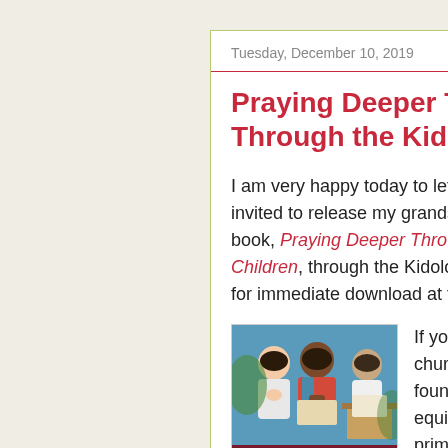Tuesday, December 10, 2019
Praying Deeper Through the Psalms — Through the Kidology Store
I am very happy today to let y... invited to release my grandso... book, Praying Deeper Through... Children, through the Kidology... for immediate download at thi...
[Figure (photo): Book cover for 'Praying Deeper Through the Psalms' by Lynda, Josiah, Caleb & Shane Freeman, featuring photos of children praying]
If you have... church, yo... founder of... equip and... primary m... over 20,00... help, ideas...